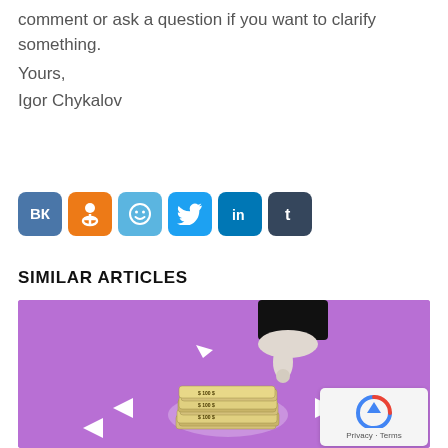comment or ask a question if you want to clarify something.
Yours,
Igor Chykalov
[Figure (infographic): Social sharing buttons: VK (blue), OK (orange), smiley/faceBook-like (light blue), Twitter (blue bird), LinkedIn (blue), Tumblr (dark)]
SIMILAR ARTICLES
[Figure (illustration): Purple background illustration showing a hand in a black suit sleeve pointing downward toward a stack of money/cash bundles, with white arrow shapes radiating outward. A reCAPTCHA privacy badge is visible in the bottom-right corner.]